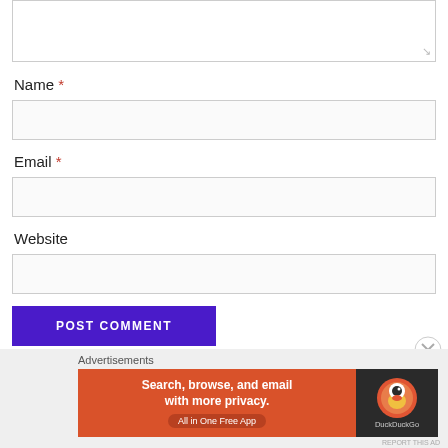[Figure (screenshot): Textarea input box (top of page, partially visible)]
Name *
[Figure (screenshot): Name input field (empty text box)]
Email *
[Figure (screenshot): Email input field (empty text box)]
Website
[Figure (screenshot): Website input field (empty text box)]
[Figure (screenshot): POST COMMENT button (purple)]
Advertisements
[Figure (screenshot): DuckDuckGo advertisement banner: Search, browse, and email with more privacy. All in One Free App]